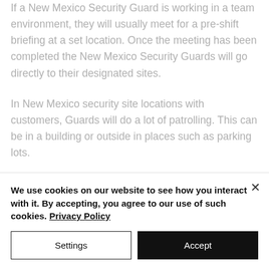If a New Mexico Security Guard is working in a team environment, they will usually meet for a pre-shift briefing at a set location. Once the meeting has been completed the New Mexico Security Guards will go directly to their designated sites.
In New Mexico security site locations with customers, Guards will do a lot of patrolling. This can be in a building or outside in places such as parking lots.
We use cookies on our website to see how you interact with it. By accepting, you agree to our use of such cookies. Privacy Policy